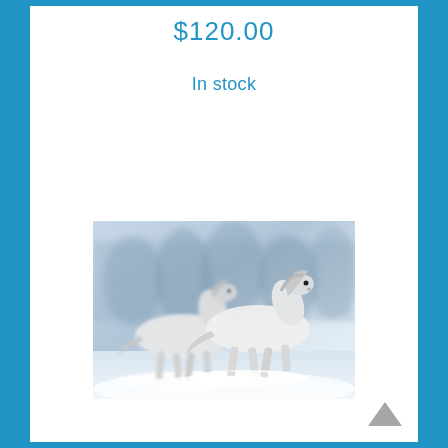$120.00
In stock
[Figure (photo): Two white horses galloping through snow with blurred winter background]